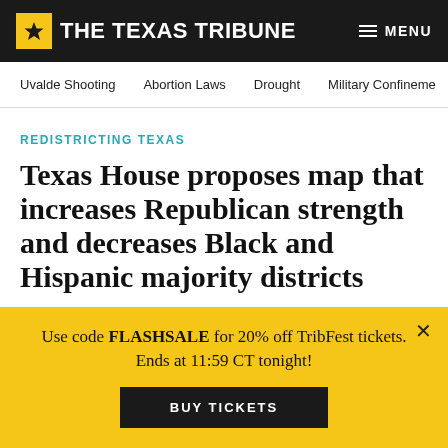THE TEXAS TRIBUNE
Uvalde Shooting | Abortion Laws | Drought | Military Confinement
REDISTRICTING TEXAS
Texas House proposes map that increases Republican strength and decreases Black and Hispanic majority districts
The Texas Legislature is in the midst of its third special...
Use code FLASHSALE for 20% off TribFest tickets. Ends at 11:59 CT tonight!
BUY TICKETS